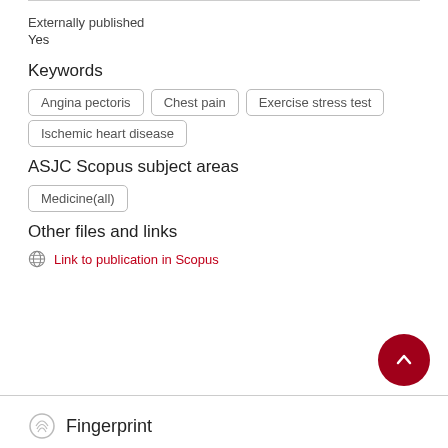Externally published
Yes
Keywords
Angina pectoris
Chest pain
Exercise stress test
Ischemic heart disease
ASJC Scopus subject areas
Medicine(all)
Other files and links
Link to publication in Scopus
Fingerprint